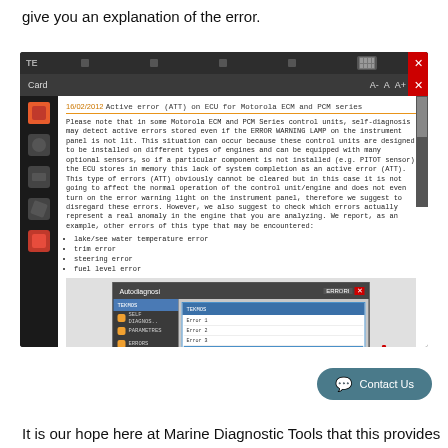give you an explanation of the error.
[Figure (screenshot): Screenshot of a diagnostic software interface showing a Card dialog with date 16/02/2012, title 'Active error (ATT) on ECU for Motorola ECM and PCM series', explanatory text about ATT errors in Motorola ECM/PCM control units, a bullet list of error types (lake/see water temperature error, trim error, steering error, fuel level error), and a nested Autodiagnosi window screenshot with a red 'A' arrow indicator.]
It is our hope here at Marine Diagnostic Tools that this provides